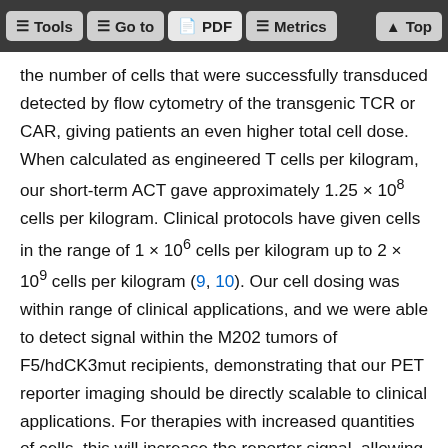Tools | Go to | PDF | Metrics | Top
the number of cells that were successfully transduced detected by flow cytometry of the transgenic TCR or CAR, giving patients an even higher total cell dose. When calculated as engineered T cells per kilogram, our short-term ACT gave approximately 1.25 × 10^8 cells per kilogram. Clinical protocols have given cells in the range of 1 × 10^6 cells per kilogram up to 2 × 10^9 cells per kilogram (9, 10). Our cell dosing was within range of clinical applications, and we were able to detect signal within the M202 tumors of F5/hdCK3mut recipients, demonstrating that our PET reporter imaging should be directly scalable to clinical applications. For therapies with increased quantities of cells, this will increase the reporter signal, allowing for a better signal-to-noise ratio in the [^18F]-L-FMAU PET scan